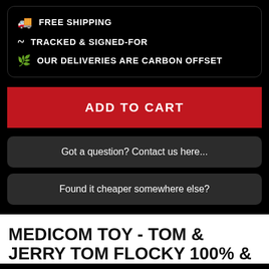FREE SHIPPING
TRACKED & SIGNED-FOR
OUR DELIVERIES ARE CARBON OFFSET
ADD TO CART
Got a question? Contact us here...
Found it cheaper somewhere else?
MEDICOM TOY - TOM & JERRY TOM FLOCKY 100% &